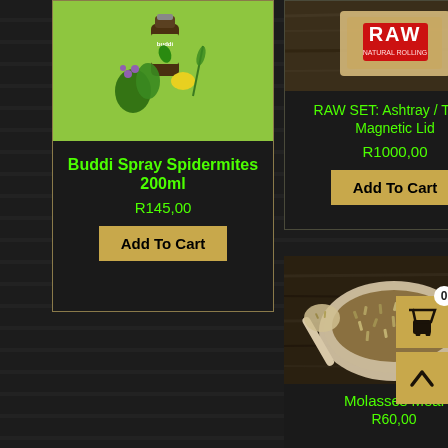[Figure (photo): Product image of Buddi Spray bottle with green herb/plant background (lime green background)]
Buddi Spray Spidermites 200ml
R145,00
Add To Cart
[Figure (photo): RAW branded product image showing ashtray/tray with magnetic lid on wooden background]
RAW SET: Ashtray / Tray / Magnetic Lid
R1000,00
Add To Cart
[Figure (photo): Molasses Meal product photo showing grain/seeds in a bowl with a scoop]
Molasses Meal
R60,00